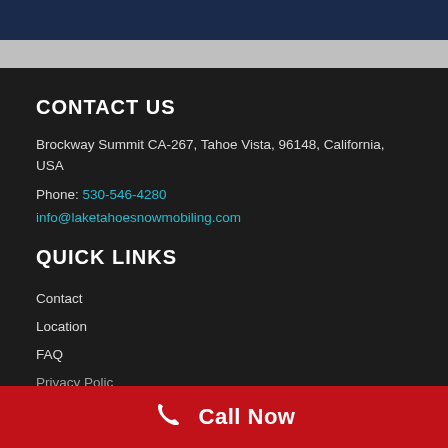CONTACT US
Brockway Summit CA-267, Tahoe Vista, 96148, California, USA
Phone: 530-546-4280
info@laketahoesnowmobiling.com
QUICK LINKS
Contact
Location
FAQ
Privacy Policy
Call Now